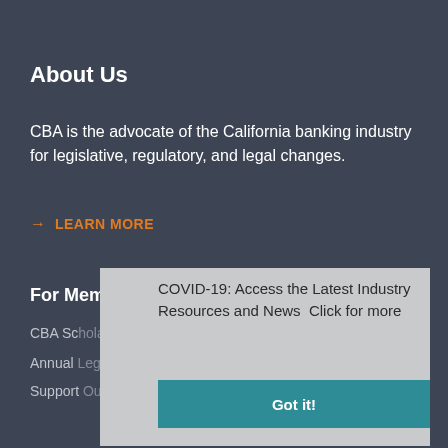About Us
CBA is the advocate of the California banking industry for legislative, regulatory, and legal changes.
→ LEARN MORE
For Members
CBA Scholarship and Me
Annual Legislative and Regulatory Summary
Support Our Industry
COVID-19: Access the Latest Industry Resources and News  Click for more
Got it!